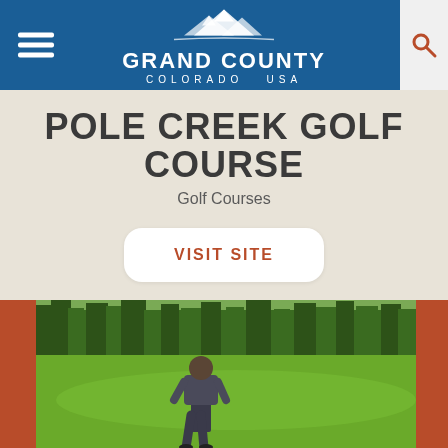Grand County Colorado USA
POLE CREEK GOLF COURSE
Golf Courses
VISIT SITE
[Figure (photo): A golfer walking on a green golf course fairway with trees in the background, viewed from behind. Reddish-brown border framing the image.]